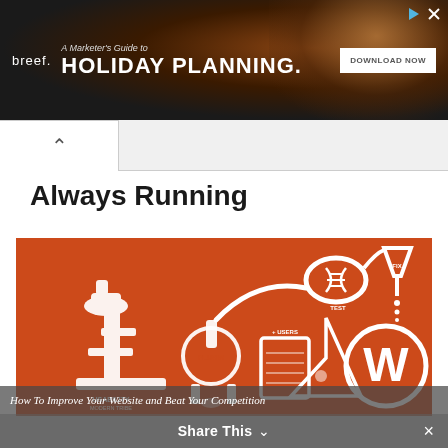[Figure (screenshot): Advertisement banner for breef. showing 'A Marketer's Guide to HOLIDAY PLANNING.' with a Download Now button on a dark background with bokeh lights]
[Figure (illustration): Orange background illustration showing laboratory equipment (microscope labeled USABILITY MODERN TRIBE, flask labeled PLUGIN, beakers labeled USERS, test tubes labeled TEST, funnel labeled FIX) connected by tubes leading to a WordPress logo W circle, representing WordPress development/testing workflow]
Always Running
How To Improve Your Website and Beat Your Competition  Share This ×